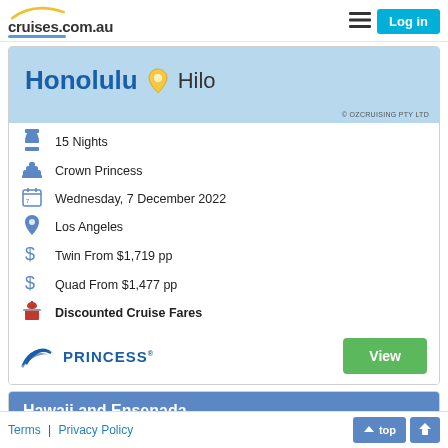cruises.com.au | Log in
[Figure (map): Map banner showing Honolulu and Hilo locations in Hawaii with blue background and location pin icon. Copyright OZCRUISING PTY LTD.]
15 Nights
Crown Princess
Wednesday, 7 December 2022
Los Angeles
Twin From $1,719 pp
Quad From $1,477 pp
Discounted Cruise Fares
[Figure (logo): Princess Cruises logo with wave icon]
Hawaii and Ensenada
Terms | Privacy Policy | top | home